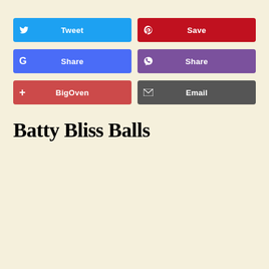[Figure (other): Social share buttons: Tweet (Twitter, cyan), Save (Pinterest, red), Share (Google, blue), Share (Viber, purple), BigOven (red-pink), Email (dark gray)]
Batty Bliss Balls